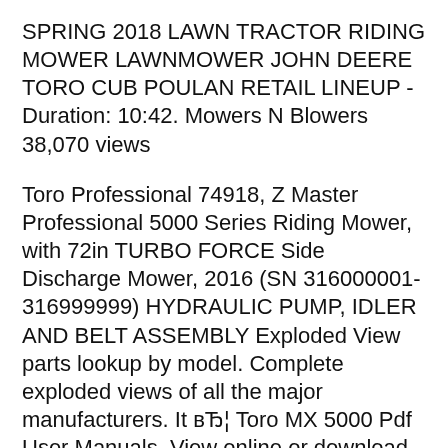SPRING 2018 LAWN TRACTOR RIDING MOWER LAWNMOWER JOHN DEERE TORO CUB POULAN RETAIL LINEUP - Duration: 10:42. Mowers N Blowers 38,070 views
Toro Professional 74918, Z Master Professional 5000 Series Riding Mower, with 72in TURBO FORCE Side Discharge Mower, 2016 (SN 316000001-316999999) HYDRAULIC PUMP, IDLER AND BELT ASSEMBLY Exploded View parts lookup by model. Complete exploded views of all the major manufacturers. It вЂ¦ Toro MX 5000 Pdf User Manuals. View online or download Toro MX 5000 Operator's Manual